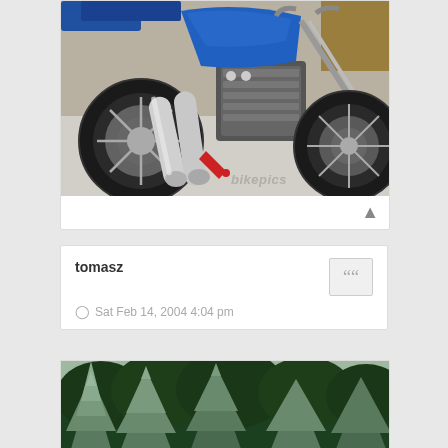[Figure (photo): Close-up photo of a motorcycle (cruiser/chopper style) with chrome exhaust pipes, blue paint, large front wheel, red accent. Bikepics watermark visible in lower right.]
tomasz
[Figure (other): Quote button icon (double quotation marks) on a grey square]
Sat Feb 14, 2004 4:04 pm
[Figure (photo): Partial photo showing evergreen trees (spruce/fir) in a forest or garden setting.]